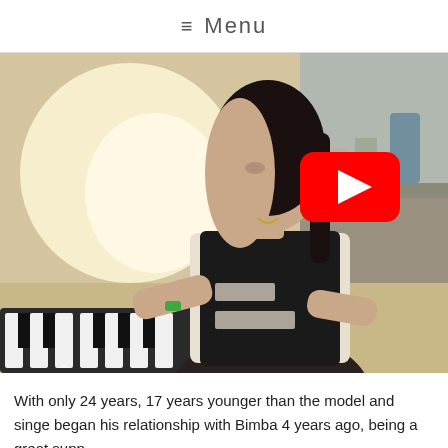≡ Menu
[Figure (photo): A young woman with dark hair playing a keyboard/piano, wearing a black and white tank top, in a warmly lit room. A YouTube play button overlay is visible in the upper right of the image.]
With only 24 years, 17 years younger than the model and singe began his relationship with Bimba 4 years ago, being a great supp